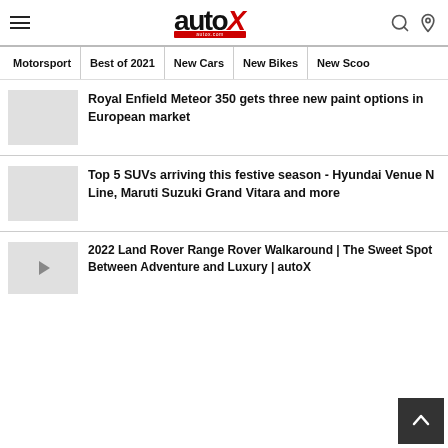autoX — Motorsport | Best of 2021 | New Cars | New Bikes | New Scoo
Royal Enfield Meteor 350 gets three new paint options in European market
Top 5 SUVs arriving this festive season - Hyundai Venue N Line, Maruti Suzuki Grand Vitara and more
2022 Land Rover Range Rover Walkaround | The Sweet Spot Between Adventure and Luxury | autoX